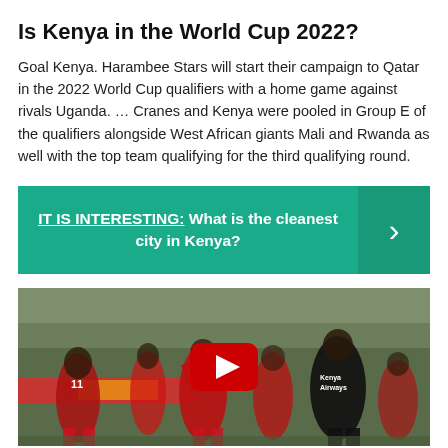Is Kenya in the World Cup 2022?
Goal Kenya. Harambee Stars will start their campaign to Qatar in the 2022 World Cup qualifiers with a home game against rivals Uganda. … Cranes and Kenya were pooled in Group E of the qualifiers alongside West African giants Mali and Rwanda as well with the top team qualifying for the third qualifying round.
[Figure (infographic): Teal banner with text: IT IS INTERESTING: What is the cleanest city in Kenya? with a right arrow on darker teal panel on right side.]
[Figure (photo): Photo of Kenya rugby players in red and black jerseys, including one wearing a Kenya Airways jersey, celebrating on a sports field. A YouTube play button overlay is visible in the center.]